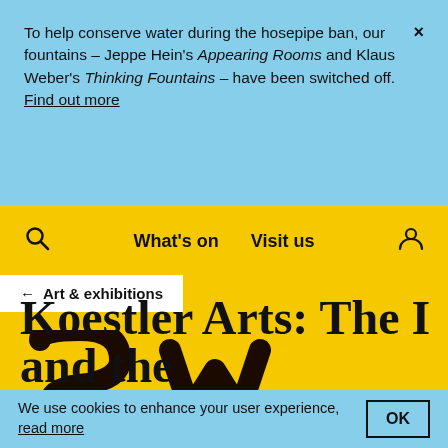To help conserve water during the hosepipe ban, our fountains – Jeppe Hein's Appearing Rooms and Klaus Weber's Thinking Fountains – have been switched off. Find out more
What's on   Visit us
← Art & exhibitions
[Figure (illustration): Partial decorative large serif letters visible against yellow background]
Koestler Arts: The I and the W...
We use cookies to enhance your user experience, read more